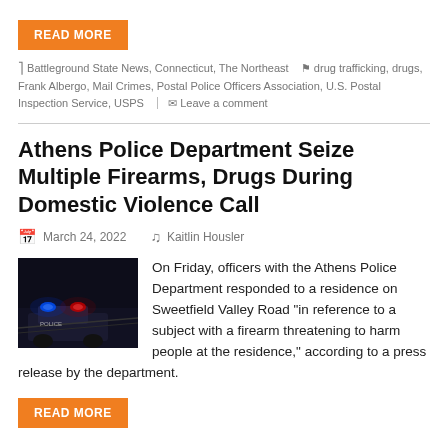READ MORE
Battleground State News, Connecticut, The Northeast   drug trafficking, drugs, Frank Albergo, Mail Crimes, Postal Police Officers Association, U.S. Postal Inspection Service, USPS   Leave a comment
Athens Police Department Seize Multiple Firearms, Drugs During Domestic Violence Call
March 24, 2022   Kaitlin Housler
[Figure (photo): Dark photo of police car with flashing blue lights at night]
On Friday, officers with the Athens Police Department responded to a residence on Sweetfield Valley Road “in reference to a subject with a firearm threatening to harm people at the residence,” according to a press release by the department.
READ MORE